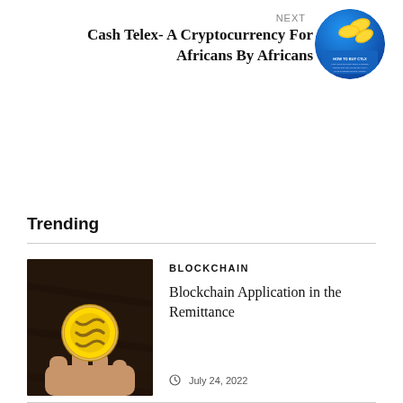NEXT
Cash Telex- A Cryptocurrency For Africans By Africans
[Figure (illustration): Circular thumbnail image with blue background showing gold coins, related to cryptocurrency]
Trending
[Figure (photo): A hand holding a gold Ripple (XRP) cryptocurrency coin against a dark brown leather background]
BLOCKCHAIN
Blockchain Application in the Remittance
July 24, 2022